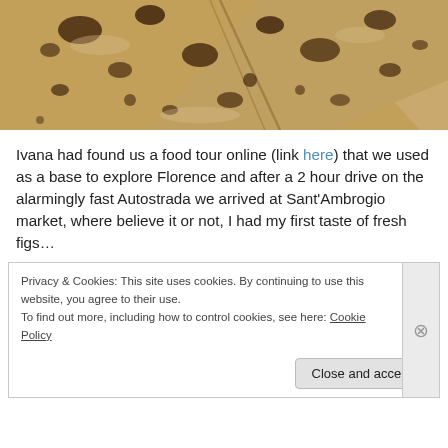[Figure (photo): Close-up photo of flatbread/piadina with brown charred spots on a light surface]
Ivana had found us a food tour online (link here) that we used as a base to explore Florence and after a 2 hour drive on the alarmingly fast Autostrada we arrived at Sant'Ambrogio market, where believe it or not, I had my first taste of fresh figs…
Privacy & Cookies: This site uses cookies. By continuing to use this website, you agree to their use.
To find out more, including how to control cookies, see here: Cookie Policy
Close and accept